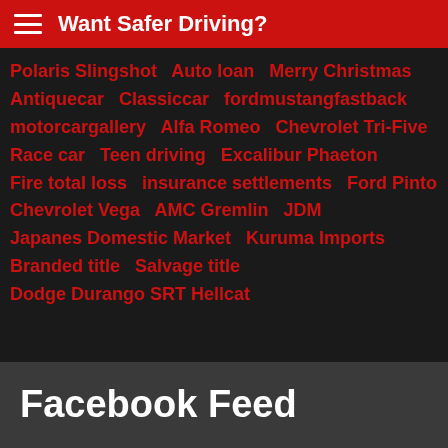Want Safer Driving?
Polaris Slingshot   Auto loan   Merry Christmas
Antiquecar   Classiccar   fordmustangfastback
motorcargallery   Alfa Romeo   Chevrolet Tri-Five
Race car   Teen driving   Excalibur Phaeton
Fire total loss   insurance settlements   Ford Pinto
Chevrolet Vega   AMC Gremlin   JDM
Japanes Domestic Market   Kuruma Imports
Branded title   Salvage title
Dodge Durango SRT Hellcat
Facebook Feed